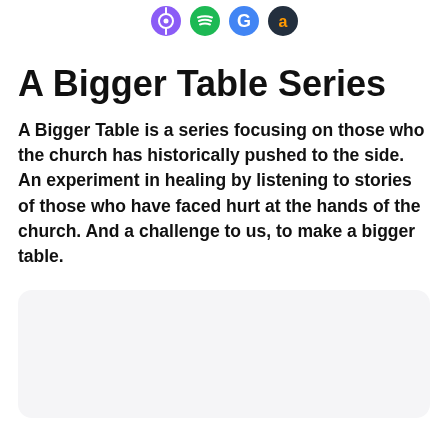[Podcast platform icons: Apple Podcasts, Spotify, Google Podcasts, Amazon]
A Bigger Table Series
A Bigger Table is a series focusing on those who the church has historically pushed to the side. An experiment in healing by listening to stories of those who have faced hurt at the hands of the church. And a challenge to us, to make a bigger table.
[Figure (other): Light gray rounded card/container at the bottom of the page, partially visible]